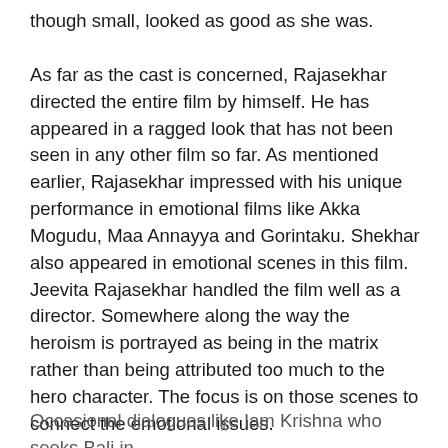though small, looked as good as she was.
As far as the cast is concerned, Rajasekhar directed the entire film by himself. He has appeared in a ragged look that has not been seen in any other film so far. As mentioned earlier, Rajasekhar impressed with his unique performance in emotional films like Akka Mogudu, Maa Annayya and Gorintaku. Shekhar also appeared in emotional scenes in this film. Jeevita Rajasekhar handled the film well as a director. Somewhere along the way the heroism is portrayed as being in the matrix rather than being attributed too much to the hero character. The focus is on those scenes to connect the emotional issues.
Occasional dialogues like Iam Krishna who seeks Bali in